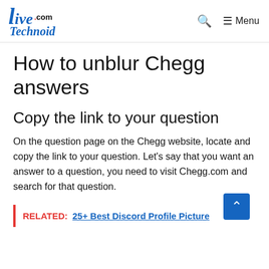LiveTechnoid.com — Menu
How to unblur Chegg answers
Copy the link to your question
On the question page on the Chegg website, locate and copy the link to your question. Let's say that you want an answer to a question, you need to visit Chegg.com and search for that question.
RELATED:  25+ Best Discord Profile Picture